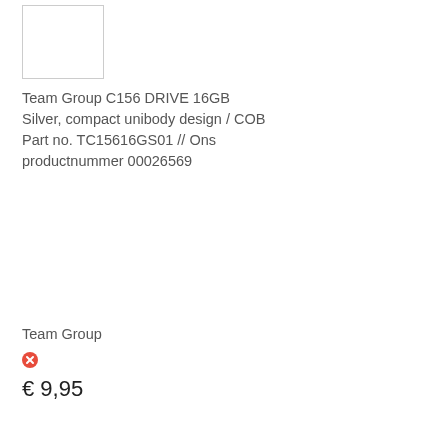[Figure (photo): White square product image placeholder with light border]
Team Group C156 DRIVE 16GB Silver, compact unibody design / COB Part no. TC15616GS01 // Ons productnummer 00026569
Team Group
[Figure (other): Red circle with X icon indicating out of stock]
€ 9,95
[Figure (other): Quantity input box showing 1 and blue cart button]